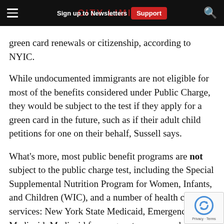Sign up to Newsletters | Support | CITY LIMITS
green card renewals or citizenship, according to NYIC.
While undocumented immigrants are not eligible for most of the benefits considered under Public Charge, they would be subject to the test if they apply for a green card in the future, such as if their adult child petitions for one on their behalf, Sussell says.
What's more, most public benefit programs are not subject to the public charge test, including the Special Supplemental Nutrition Program for Women, Infants, and Children (WIC), and a number of health care services: New York State Medicaid, Emergency Medicaid, Medicaid for pregnant women and chi Child Health Plus, the state's Essential Plan and